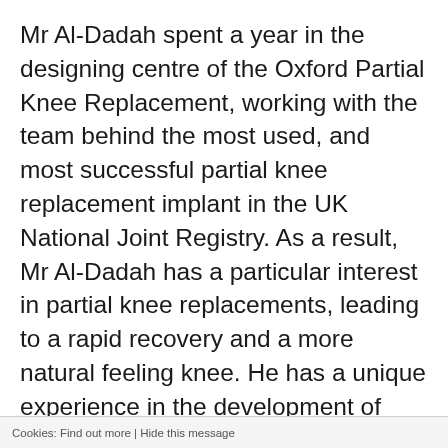Mr Al-Dadah spent a year in the designing centre of the Oxford Partial Knee Replacement, working with the team behind the most used, and most successful partial knee replacement implant in the UK National Joint Registry. As a result, Mr Al-Dadah has a particular interest in partial knee replacements, leading to a rapid recovery and a more natural feeling knee. He has a unique experience in the development of patient pathways.
Mr Al-Dadah has won several awards for his teaching, and is a Fellow of the Higher Education Academy. As a result, he utilises these skills to pass on knowledge and to fully educate his patients regarding their pathologies, thus empowering them to take ownership of what is happening following a thorough and insightful
Cookies: Find out more | Hide this message